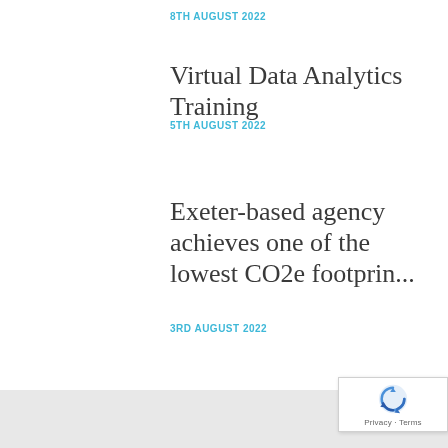8TH AUGUST 2022
Virtual Data Analytics Training
5TH AUGUST 2022
Exeter-based agency achieves one of the lowest CO2e footprin...
3RD AUGUST 2022
[Figure (logo): reCAPTCHA badge with Privacy and Terms text]